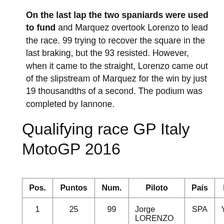On the last lap the two spaniards were used to fund and Marquez overtook Lorenzo to lead the race. 99 trying to recover the square in the last braking, but the 93 resisted. However, when it came to the straight, Lorenzo came out of the slipstream of Marquez for the win by just 19 thousandths of a second. The podium was completed by Iannone.
Qualifying race GP Italy MotoGP 2016
| Pos. | Puntos | Num. | Piloto | País | E |
| --- | --- | --- | --- | --- | --- |
| 1 | 25 | 99 | Jorge
LORENZO | SPA | Ya |